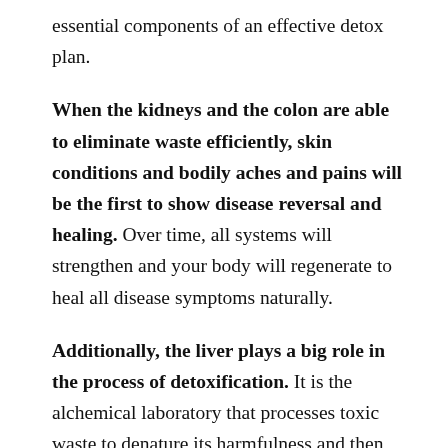essential components of an effective detox plan.
When the kidneys and the colon are able to eliminate waste efficiently, skin conditions and bodily aches and pains will be the first to show disease reversal and healing. Over time, all systems will strengthen and your body will regenerate to heal all disease symptoms naturally.
Additionally, the liver plays a big role in the process of detoxification. It is the alchemical laboratory that processes toxic waste to denature its harmfulness and then either stores it within its tissues for later elimination or sends